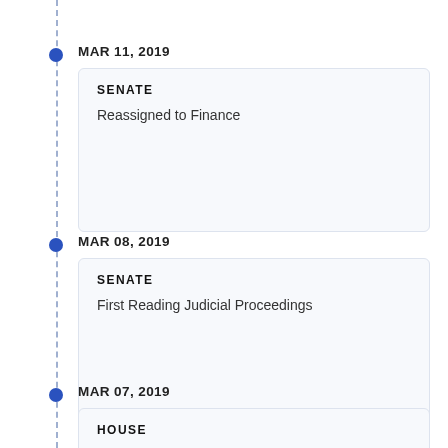MAR 11, 2019
SENATE
Reassigned to Finance
MAR 08, 2019
SENATE
First Reading Judicial Proceedings
MAR 07, 2019
HOUSE